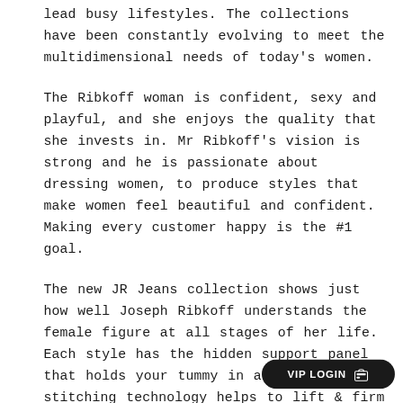lead busy lifestyles. The collections have been constantly evolving to meet the multidimensional needs of today's women.
The Ribkoff woman is confident, sexy and playful, and she enjoys the quality that she invests in. Mr Ribkoff's vision is strong and he is passionate about dressing women, to produce styles that make women feel beautiful and confident. Making every customer happy is the #1 goal.
The new JR Jeans collection shows just how well Joseph Ribkoff understands the female figure at all stages of her life. Each style has the hidden support panel that holds your tummy in and the special stitching technology helps to lift & firm your rear.
Embroidered, embellished or b[...] denim styles range from slim fi[...] bootcut. The fabrics are uber soft and ultra
[Figure (other): VIP LOGIN button — dark rounded pill button with text 'VIP LOGIN' and a gift card icon]